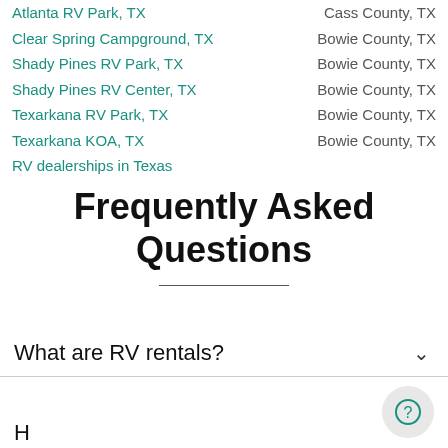Atlanta RV Park, TX | Cass County, TX
Clear Spring Campground, TX | Bowie County, TX
Shady Pines RV Park, TX | Bowie County, TX
Shady Pines RV Center, TX | Bowie County, TX
Texarkana RV Park, TX | Bowie County, TX
Texarkana KOA, TX | Bowie County, TX
RV dealerships in Texas
Frequently Asked Questions
What are RV rentals?